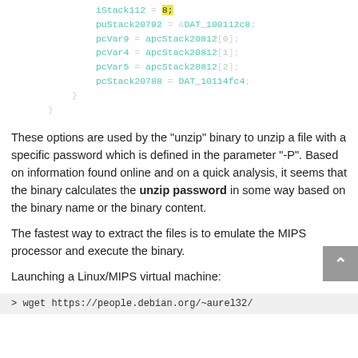iStack112 = 8;
puStack20792 = &DAT_100112c8;
pcVar9 = apcStack20812[0];
pcVar4 = apcStack20812[1];
pcVar5 = apcStack20812[2];
pcStack20788 = DAT_10114fc4;
    }
  }
These options are used by the “unzip” binary to unzip a file with a specific password which is defined in the parameter “-P”. Based on information found online and on a quick analysis, it seems that the binary calculates the unzip password in some way based on the binary name or the binary content.
The fastest way to extract the files is to emulate the MIPS processor and execute the binary.
Launching a Linux/MIPS virtual machine:
> wget https://people.debian.org/~aurel32/